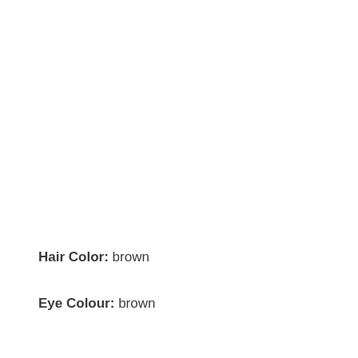Hair Color: brown
Eye Colour: brown